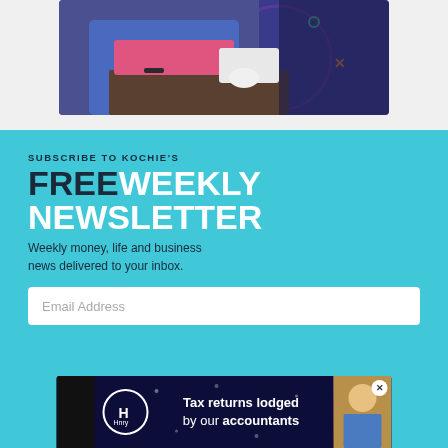[Figure (photo): Partial photo of a woman in a blue patterned dress working on a laptop with a pink keyboard, on a dark/purple background with decorative dots]
SUBSCRIBE TO KOCHIE'S FREE WEEKLY NEWSLETTER
Weekly money, life and business news delivered to your inbox.
Email Address
[Figure (photo): Advertisement banner for Hnry showing 'Tax returns lodged by our accountants' with a woman in a blue shirt smiling, on a dark navy background with decorative dots]